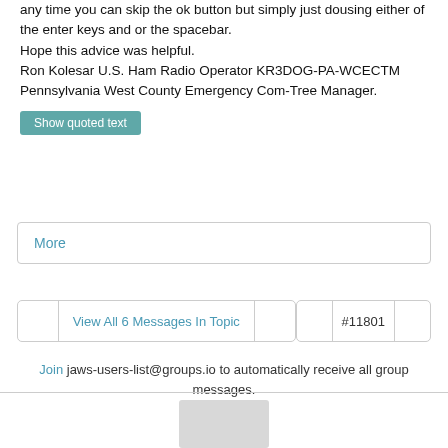any time you can skip the ok button but simply just dousing either of the enter keys and or the spacebar.
Hope this advice was helpful.
Ron Kolesar U.S. Ham Radio Operator KR3DOG-PA-WCECTM
Pennsylvania West County Emergency Com-Tree Manager.
Show quoted text
More
View All 6 Messages In Topic
#11801
Join jaws-users-list@groups.io to automatically receive all group messages.
[Figure (other): Gray rectangle footer image placeholder]